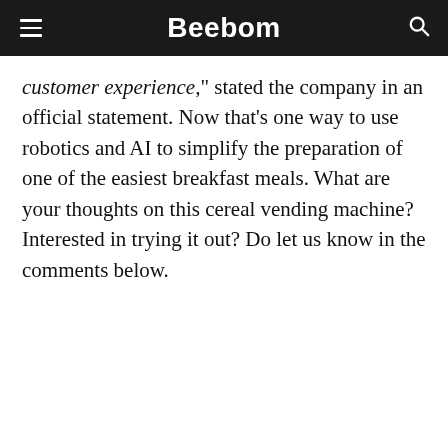Beebom
customer experience,” stated the company in an official statement. Now that’s one way to use robotics and AI to simplify the preparation of one of the easiest breakfast meals. What are your thoughts on this cereal vending machine? Interested in trying it out? Do let us know in the comments below.